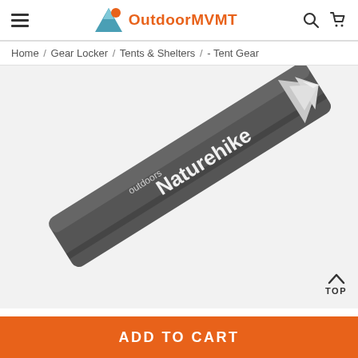OutdoorMVMT — navigation header with hamburger menu, logo, search and cart icons
Home / Gear Locker / Tents & Shelters / - Tent Gear
[Figure (photo): Close-up product photo of a Naturehike branded tent stake/peg made of dark grey metal with a pointed silver tip, showing the Naturehike logo in white text on the stake body. A 'TOP' back-to-top button with chevron is overlaid at the bottom right.]
ADD TO CART